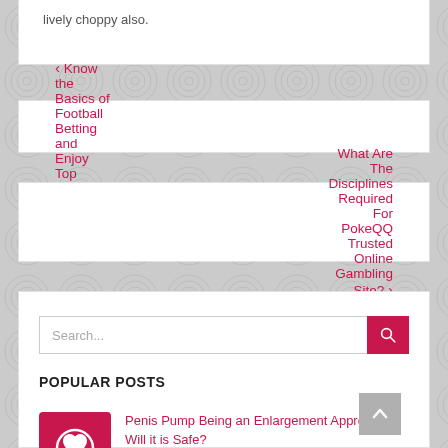lively choppy also.
‹ Know the Basics of Football Betting and Enjoy Top Winnings
What Are The Disciplines Required For PokeQQ Trusted Online Gambling Site? ›
Search...
POPULAR POSTS
[Figure (logo): Red square icon with a heart/love symbol in white]
Penis Pump Being an Enlargement Approach – Will it is Safe?
August 31, 2022